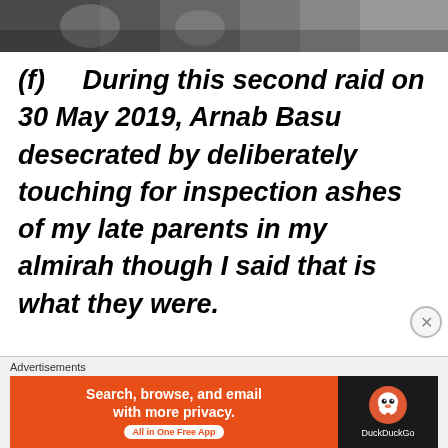[Figure (photo): Partial photo strip at top of page showing people at a table, dark-toned image]
(f)  During this second raid on 30 May 2019, Arnab Basu desecrated by deliberately touching for inspection ashes of my late parents in my almirah though I said that is what they were.
Advertisements
[Figure (screenshot): DuckDuckGo advertisement banner: orange left side with 'Search, browse, and email with more privacy. All in One Free App' and black right side with DuckDuckGo duck logo]